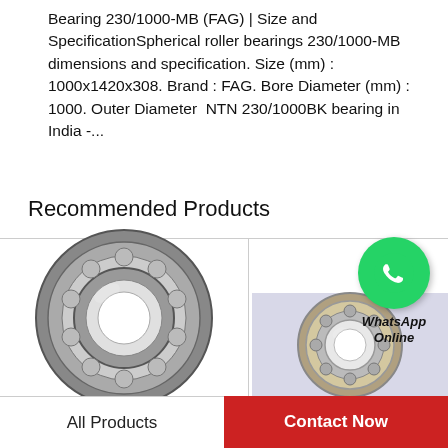Bearing 230/1000-MB (FAG) | Size and SpecificationSpherical roller bearings 230/1000-MB dimensions and specification. Size (mm) : 1000x1420x308. Brand : FAG. Bore Diameter (mm) : 1000. Outer Diameter  NTN 230/1000BK bearing in India -...
Recommended Products
[Figure (photo): Spherical roller bearing product image, left card]
[Figure (photo): WhatsApp Online contact button with green circle icon]
[Figure (photo): Smaller bearing product image, right card]
All Products
Contact Now